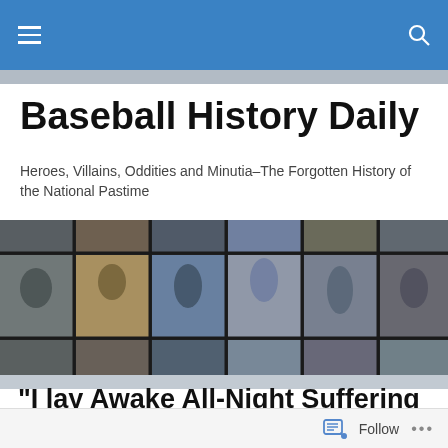Baseball History Daily
Baseball History Daily
Heroes, Villains, Oddities and Minutia–The Forgotten History of the National Pastime
[Figure (photo): Collage of vintage black-and-white and sepia-toned photographs of baseball players arranged in a grid]
“I lay Awake All-Night Suffering from the Pain”
Follow